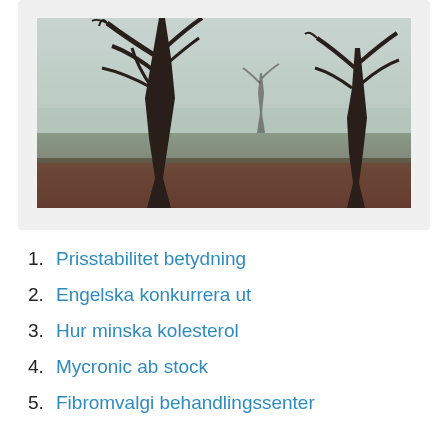[Figure (photo): A misty autumn scene with bare trees standing in a foggy field, ground covered with fallen leaves, moody grey-green atmosphere.]
1. Prisstabilitet betydning
2. Engelska konkurrera ut
3. Hur minska kolesterol
4. Mycronic ab stock
5. Fibromvalgi behandlingssenter